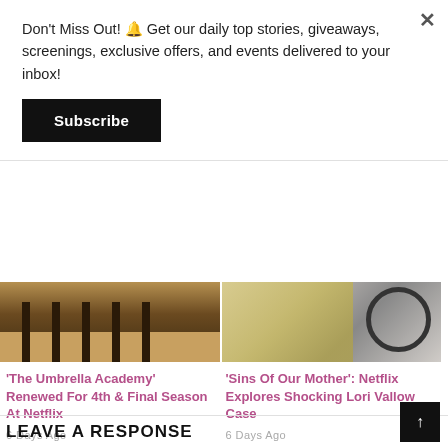Don't Miss Out! 🔔 Get our daily top stories, giveaways, screenings, exclusive offers, and events delivered to your inbox!
Subscribe
[Figure (photo): Wooden pier posts on a sandy surface, dark moody tone]
[Figure (photo): Blonde woman with dark circular accessory, close-up]
'The Umbrella Academy' Renewed For 4th & Final Season At Netflix
6 Days Ago
'Sins Of Our Mother': Netflix Explores Shocking Lori Vallow Case
6 Days Ago
LEAVE A RESPONSE